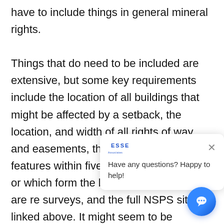have to include things in general mineral rights.

Things that do need to be included are extensive, but some key requirements include the location of all buildings that might be affected by a setback, the location, and width of all rights of way and easements, the location of all water features within five feet of the boundary or which form the boun graves. These are re surveys, and the full NSPS site linked above. It might seem to be ridiculously comprehensive, but it can help understand the property you have and the land's